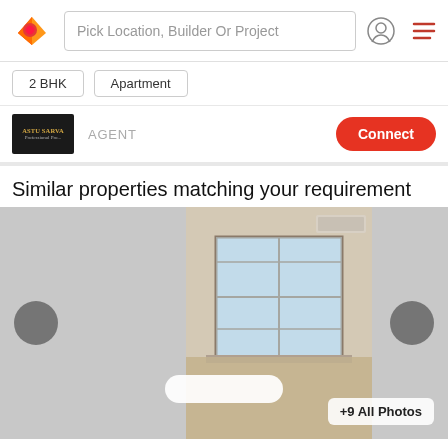Pick Location, Builder Or Project
2 BHK  Apartment
ASTU SARVA... AGENT  Connect
Similar properties matching your requirement
[Figure (photo): Interior photo of an empty apartment room with a large window, shown in a carousel with navigation arrows and +9 All Photos badge]
2 BHK Apartment 1,250 sq ft  ₹25,000
Nyati Elan West II  |  Wagholi, Pune
2 BHK Flat and Apartment For Rent in Nyati Elan West II Wa...  More